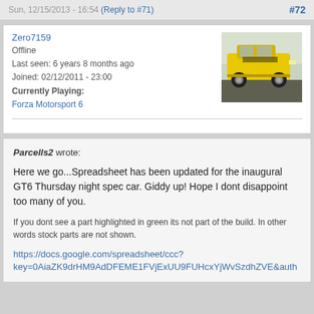Sun, 12/15/2013 - 16:54 (Reply to #71) #72
Zero7159
Offline
Last seen: 6 years 8 months ago
Joined: 02/12/2011 - 23:00
Currently Playing:
Forza Motorsport 6
[Figure (photo): Yellow racing car with black markings, rear/side view, parked outdoors]
Parcells2 wrote:

Here we go...Spreadsheet has been updated for the inaugural GT6 Thursday night spec car. Giddy up! Hope I dont disappoint too many of you.

If you dont see a part highlighted in green its not part of the build. In other words stock parts are not shown.

https://docs.google.com/spreadsheet/ccc?key=0AiaZK9drHM9AdDFEME1FVjExUU9FUHcxYjWvSzdhZVE&auth